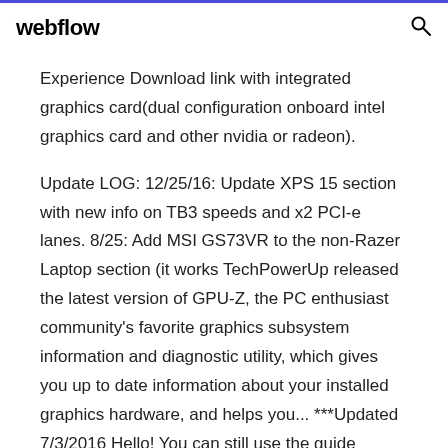webflow
Experience Download link with integrated graphics card(dual configuration onboard intel graphics card and other nvidia or radeon).
Update LOG: 12/25/16: Update XPS 15 section with new info on TB3 speeds and x2 PCI-e lanes. 8/25: Add MSI GS73VR to the non-Razer Laptop section (it works TechPowerUp released the latest version of GPU-Z, the PC enthusiast community's favorite graphics subsystem information and diagnostic utility, which gives you up to date information about your installed graphics hardware, and helps you... ***Updated 7/3/2016 Hello! You can still use the guide